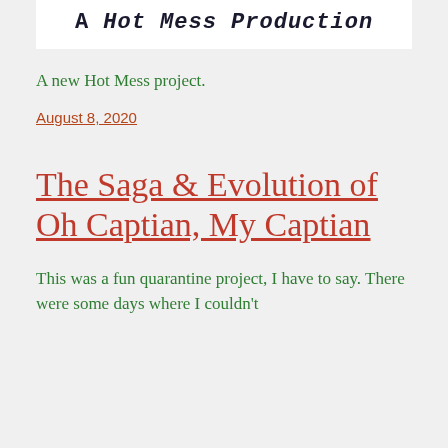A Hot Mess Production
A new Hot Mess project.
August 8, 2020
The Saga & Evolution of Oh Captian, My Captian
This was a fun quarantine project, I have to say. There were some days where I couldn't